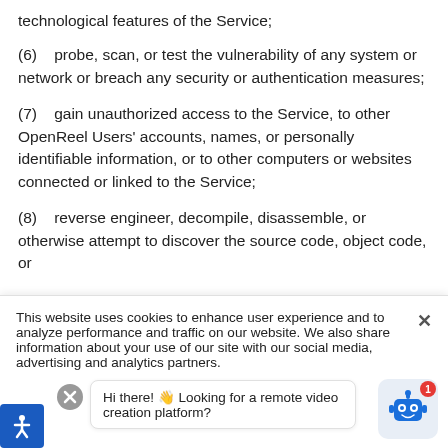technological features of the Service;
(6)   probe, scan, or test the vulnerability of any system or network or breach any security or authentication measures;
(7)   gain unauthorized access to the Service, to other OpenReel Users' accounts, names, or personally identifiable information, or to other computers or websites connected or linked to the Service;
(8)   reverse engineer, decompile, disassemble, or otherwise attempt to discover the source code, object code, or
This website uses cookies to enhance user experience and to analyze performance and traffic on our website. We also share information about your use of our site with our social media, advertising and analytics partners.
Hi there! 👋 Looking for a remote video creation platform?